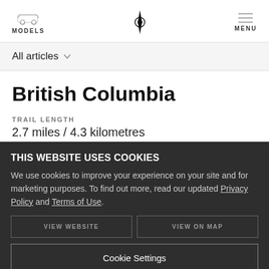MODELS | [Logo] | MENU
All articles
British Columbia
TRAIL LENGTH
2.7 miles / 4.3 kilometres
ROUTE TYPE
THIS WEBSITE USES COOKIES
We use cookies to improve your experience on your site and for marketing purposes. To find out more, read our updated Privacy Policy and Terms of Use.
Cookie Settings
Accept All Cookies
VIEW WEBSITE
VIEW ON MAP
Quarry Rock